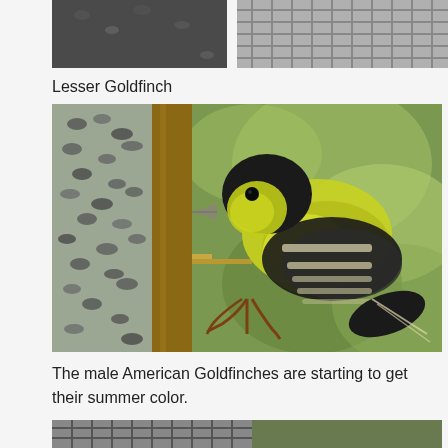[Figure (photo): Top portion of a bird feeder photo, partially cropped at top of page, showing wire mesh and bird feeder elements]
Lesser Goldfinch
[Figure (photo): A male Lesser Goldfinch with yellow-green plumage and black wings with white markings, perched on a bird feeder, eating seeds from a cylindrical seed tube feeder. Blurred green bokeh background.]
The male American Goldfinches are starting to get their summer color.
[Figure (photo): Bottom portion of a photo showing wire mesh of a bird feeder, partially cropped at bottom of page]